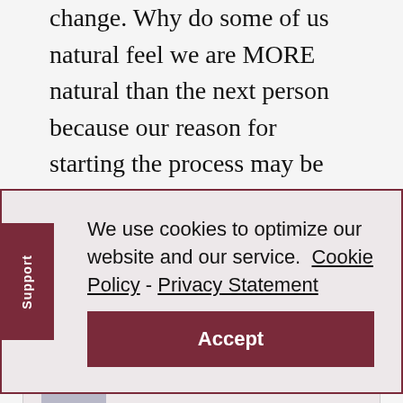change. Why do some of us natural feel we are MORE natural than the next person because our reason for starting the process may be different. I personally don't care what motivates u to make a positive
We use cookies to optimize our website and our service. Cookie Policy - Privacy Statement
Accept
Cynthia Watson Dunlap says
June 16, 2014 at 21:07